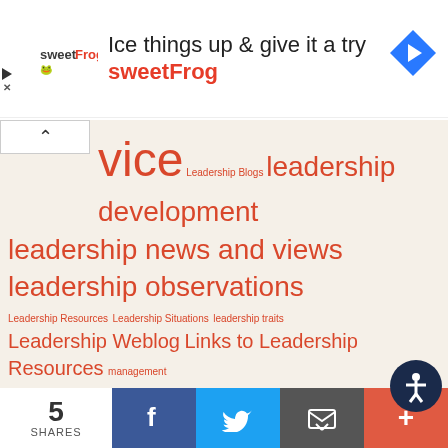[Figure (screenshot): sweetFrog advertisement banner: logo with text 'Ice things up & give it a try' and 'sweetFrog' in red, with a blue diamond navigation arrow icon on the right]
[Figure (infographic): Tag/word cloud with leadership and management related terms in varying sizes, rendered in orange-red on a beige/tan background. Terms include: vice, Leadership Blogs, leadership development, leadership news and views, leadership observations, Leadership Resources, Leadership Situations, leadership traits, Leadership Weblog, Links to Leadership Resources, management, 101, Management 101, Management Advice, Management Blogs, Management Development, management mistakes, management resource lists, Management Training, managing people, Online Management Training, Rankings, Recommended Products, sales management, sales training, shit sandwich book, social selling, time management, typical manager, website conversions]
5 SHARES | Facebook | Twitter | Email | More